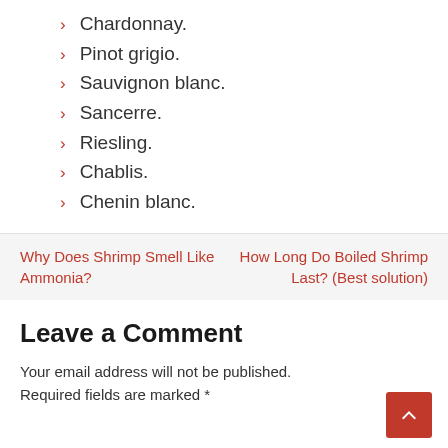Chardonnay.
Pinot grigio.
Sauvignon blanc.
Sancerre.
Riesling.
Chablis.
Chenin blanc.
Why Does Shrimp Smell Like Ammonia?
How Long Do Boiled Shrimp Last? (Best solution)
Leave a Comment
Your email address will not be published. Required fields are marked *